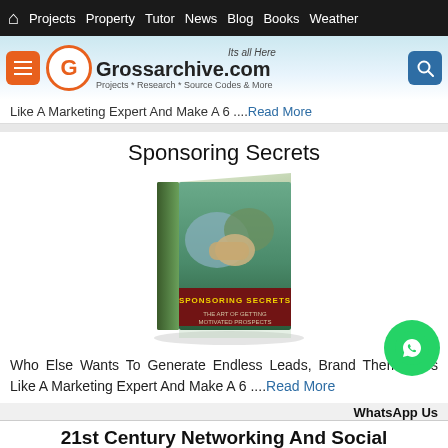Projects  Property  Tutor  News  Blog  Books  Weather
[Figure (logo): Grossarchive.com logo with orange G circle and menu/search buttons]
Like A Marketing Expert And Make A 6 ....Read More
Sponsoring Secrets
[Figure (photo): Book cover: Sponsoring Secrets - The Art of Getting Motivated Prospects]
Who Else Wants To Generate Endless Leads, Brand Themselves Like A Marketing Expert And Make A 6 ....Read More
WhatsApp Us
21st Century Networking And Social Dominance